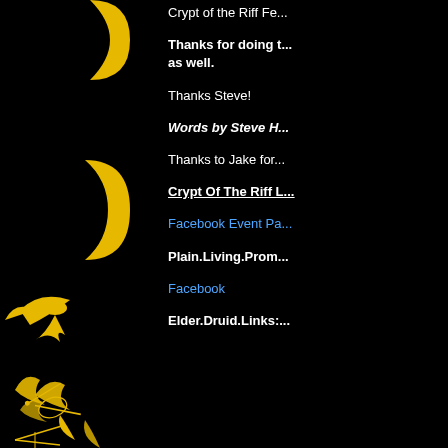[Figure (illustration): Black background with yellow crescent moon shapes and yellow line art illustrations of a guitar player, a bird/phoenix, and wave-like figures stacked vertically on the left panel]
Crypt of the Riff Fe...
Thanks for doing t... as well.
Thanks Steve!
Words by Steve H...
Thanks to Jake for...
Crypt Of The Riff L...
Facebook Event Pa...
Plain.Living.Prom...
Facebook
Elder.Druid.Links:...